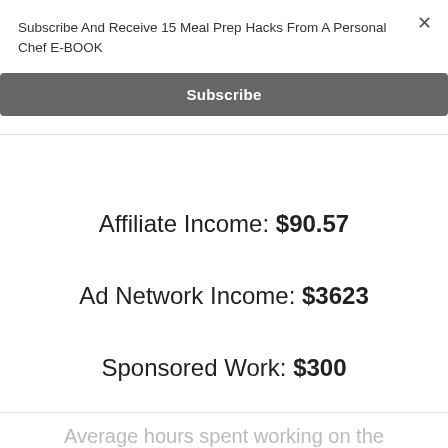Subscribe And Receive 15 Meal Prep Hacks From A Personal Chef E-BOOK
Subscribe
Affiliate Income: $90.57
Ad Network Income: $3623
Sponsored Work: $300
Average hours spent working on the